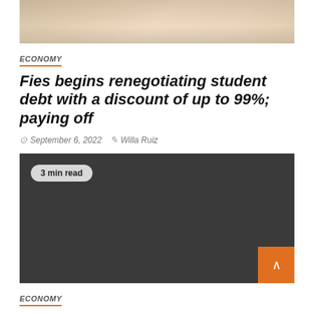[Figure (photo): Top portion of an article hero image showing a blurred desk/documents scene in warm tones]
ECONOMY
Fies begins renegotiating student debt with a discount of up to 99%; paying off
September 6, 2022   Willa Ruiz
[Figure (other): Dark gray box with '3 min read' badge and orange scroll-to-top button]
ECONOMY